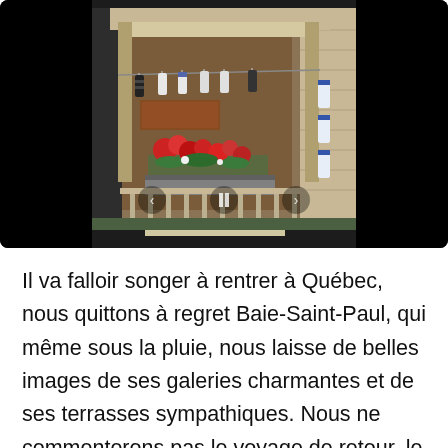[Figure (photo): A photo slideshow viewer with black background showing a charming porch/gallery of a building in Baie-Saint-Paul with hanging socks/laundry on a line, red geraniums in a flower box, and a wooden facade. Navigation arrows visible at the bottom of the image.]
Il va falloir songer à rentrer à Québec, nous quittons à regret Baie-Saint-Paul, qui même sous la pluie, nous laisse de belles images de ses galeries charmantes et de ses terrasses sympathiques. Nous ne commenterons pas le voyage de retour, le laissant à votre imagination.